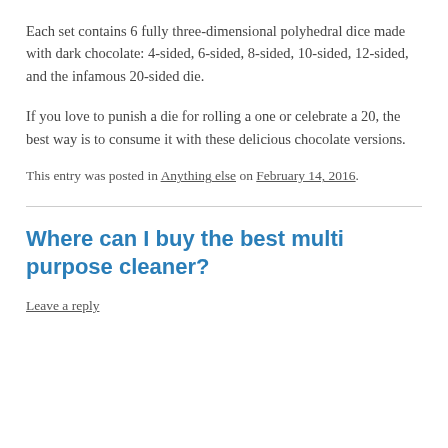Each set contains 6 fully three-dimensional polyhedral dice made with dark chocolate: 4-sided, 6-sided, 8-sided, 10-sided, 12-sided, and the infamous 20-sided die.
If you love to punish a die for rolling a one or celebrate a 20, the best way is to consume it with these delicious chocolate versions.
This entry was posted in Anything else on February 14, 2016.
Where can I buy the best multi purpose cleaner?
Leave a reply